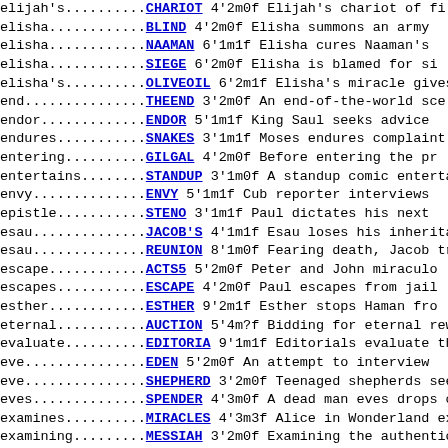elijah's..........CHARIOT  4'2m0f  Elijah's chariot of fi
elisha............BLIND    4'2m0f  Elisha summons an army
elisha............NAAMAN   6'1m1f  Elisha cures Naaman's
elisha............SIEGE    6'2m0f  Elisha is blamed for si
elisha's..........OLIVEOIL 6'2m1f  Elisha's miracle gives
end...............THEEND   3'2m0f  An end-of-the-world sce
endor.............ENDOR    5'1m1f  King Saul seeks advice
endures...........SNAKES   3'1m1f  Moses endures complaint
entering..........GILGAL   4'2m0f  Before entering the pr
entertains........STANDUP  3'1m0f  A standup comic enterta
envy..............ENVY     5'1m1f  Cub reporter interviews
epistle...........STENO    3'1m1f  Paul dictates his next
esau..............JACOB'S  4'1m1f  Esau loses his inherita
esau..............REUNION  8'1m0f  Fearing death, Jacob tr
escape............ACTS5    5'2m0f  Peter and John miraculo
escapes...........ESCAPE   4'2m0f  Paul escapes from jail
esther............ESTHER   9'2m1f  Esther stops Haman from
eternal...........AUCTION  5'4m?f  Bidding for eternal rew
evaluate..........EDITORIA 9'1m1f  Editorials evaluate the
eve...............EDEN     5'2m0f  An attempt to interview
eve...............SHEPHERD 3'2m0f  Teenaged shepherds see
eves..............SPENDER  4'3m0f  A dead man eves drops o
examines..........MIRACLES 4'3m3f  Alice in Wonderland exa
examining.........MESSIAH  3'2m0f  Examining the authentic
experience........SHELTERS 3'3m0f  Peter, James & John's m
eye...............IWITNESS 5'2m0f  At last, an eye witness
HOME BOOK CATEGORY STAGE>A B C D E F G H I J K L M N O P  MAIL LINK SEASONAL RADIO>A B C D E F G H I J K L M N O P